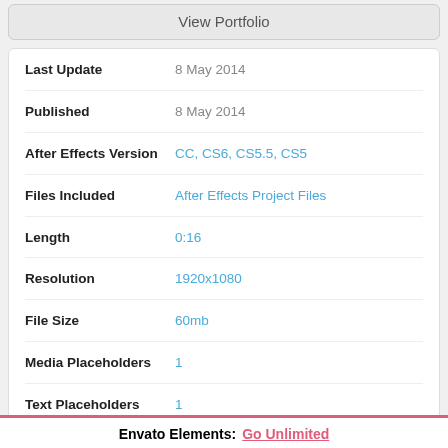View Portfolio
| Field | Value |
| --- | --- |
| Last Update | 8 May 2014 |
| Published | 8 May 2014 |
| After Effects Version | CC, CS6, CS5.5, CS5 |
| Files Included | After Effects Project Files |
| Length | 0:16 |
| Resolution | 1920x1080 |
| File Size | 60mb |
| Media Placeholders | 1 |
| Text Placeholders | 1 |
Envato Elements: Go Unlimited